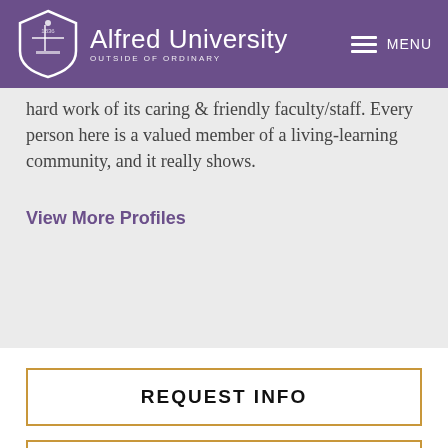Alfred University — Outside of Ordinary | MENU
hard work of its caring & friendly faculty/staff. Every person here is a valued member of a living-learning community, and it really shows.
View More Profiles
REQUEST INFO
VISIT US